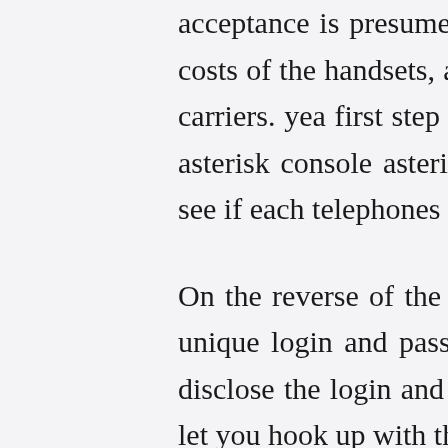acceptance is presumed to be contingent on the dropping costs of the handsets, and the sorts of plans offered by the carriers. yea first step go into your server and get into the asterisk console asterisk -r, and kind sip show peers and see if each telephones are literally related.
On the reverse of the NAUTA web card there's a hidden unique login and password. You simply scratch away to disclose the login and password details. These particulars let you hook up with the web in